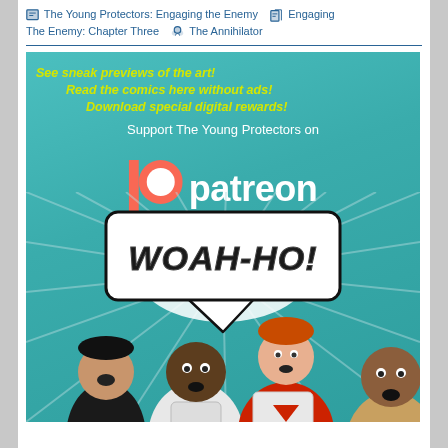The Young Protectors: Engaging the Enemy | Engaging The Enemy: Chapter Three | The Annihilator
[Figure (illustration): Promotional banner for The Young Protectors Patreon. Teal background with yellow italic text listing benefits: 'See sneak previews of the art!', 'Read the comics here without ads!', 'Download special digital rewards!'. White text 'Support The Young Protectors on' above the Patreon logo (orange P icon and white 'patreon' wordmark). Below, comic-style illustration of four characters with a speech bubble saying 'WOAH-HO!' in bold black outlined text. Characters include a man in black on the left, a Black man in white superhero suit, a red-haired man in red and white costume, and an older man in tan robes on the right.]